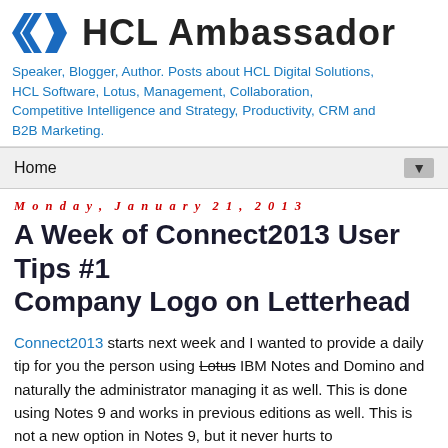[Figure (logo): HCL Ambassador logo with blue diamond/chevron shapes and bold text 'HCL Ambassador']
Speaker, Blogger, Author. Posts about HCL Digital Solutions, HCL Software, Lotus, Management, Collaboration, Competitive Intelligence and Strategy, Productivity, CRM and B2B Marketing.
Home ▼
Monday, January 21, 2013
A Week of Connect2013 User Tips #1 Company Logo on Letterhead
Connect2013 starts next week and I wanted to provide a daily tip for you the person using Lotus IBM Notes and Domino and naturally the administrator managing it as well. This is done using Notes 9 and works in previous editions as well. This is not a new option in Notes 9, but it never hurts to